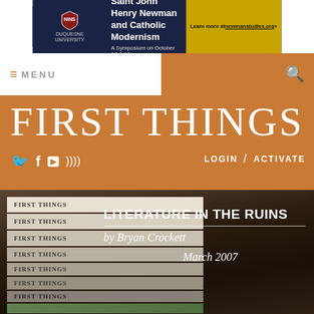[Figure (screenshot): Advertisement banner for NINS / Duquesne University: Saint John Henry Newman and Catholic Modernism symposium on October 17 & 18, learn more at newmanstudies.org]
≡ MENU
[Figure (logo): FIRST THINGS website header with orange background, social media icons (Twitter, Facebook, YouTube, RSS), LOGIN / ACTIVATE links, and search icon]
[Figure (photo): Stack of First Things magazines photographed on a dark background]
LITERATURE IN THE RUINS
by Bryan Crockett
March 2007